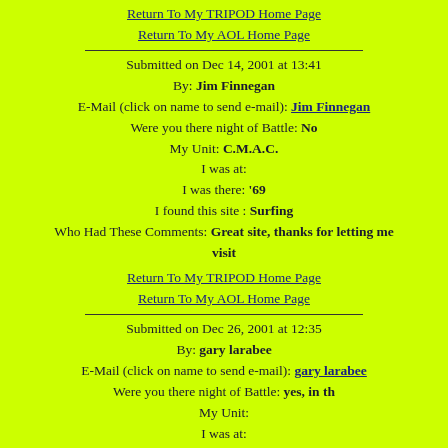Return To My TRIPOD Home Page
Return To My AOL Home Page
Submitted on Dec 14, 2001 at 13:41
By: Jim Finnegan
E-Mail (click on name to send e-mail): Jim Finnegan
Were you there night of Battle: No
My Unit: C.M.A.C.
I was at:
I was there: '69
I found this site : Surfing
Who Had These Comments: Great site, thanks for letting me visit
Return To My TRIPOD Home Page
Return To My AOL Home Page
Submitted on Dec 26, 2001 at 12:35
By: gary larabee
E-Mail (click on name to send e-mail): gary larabee
Were you there night of Battle: yes, in th
My Unit:
I was at:
I was there:
I found this site :
Who Had These Comments: